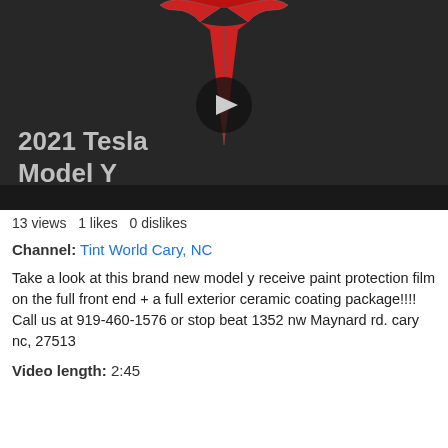[Figure (screenshot): Video thumbnail showing a Tesla Model Y logo/badge in red on a dark background, with a YouTube play button overlay. Text overlay reads '2021 Tesla Model Y'.]
13 views   1 likes   0 dislikes
Channel: Tint World Cary, NC
Take a look at this brand new model y receive paint protection film on the full front end + a full exterior ceramic coating package!!!! Call us at 919-460-1576 or stop beat 1352 nw Maynard rd. cary nc, 27513
Video length: 2:45